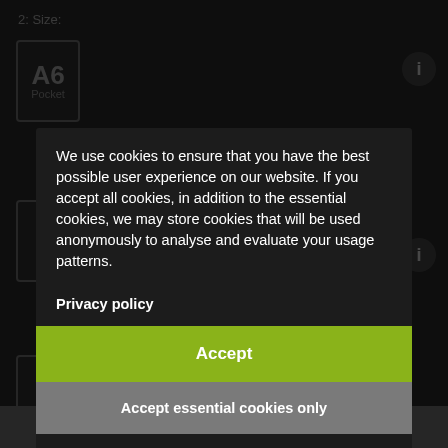[Figure (screenshot): Dark-themed website background showing '2: Size:' label, an A6/Pocket paper size selection box, info icons, and partially visible UI elements behind a cookie consent modal overlay.]
We use cookies to ensure that you have the best possible user experience on our website. If you accept all cookies, in addition to the essential cookies, we may store cookies that will be used anonymously to analyse and evaluate your usage patterns.
Privacy policy
Accept
Accept essential cookies only
Settings